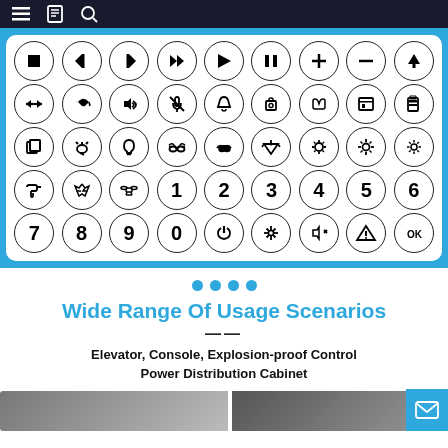Navigation bar with menu, book, and search icons
[Figure (illustration): Grid of 45 circular icon buttons arranged in 5 rows by 9 columns, showing media controls, arrows, sound, alarm, lighting, faucet, recycle, drone, numbers 0-9, power, snowflake, mute, warning, OK symbols]
• • • •
Wide Range Of Usage Scenarios
——
Elevator, Console, Explosion-proof Control Power Distribution Cabinet
[Figure (photo): Two product photos at bottom left and right]